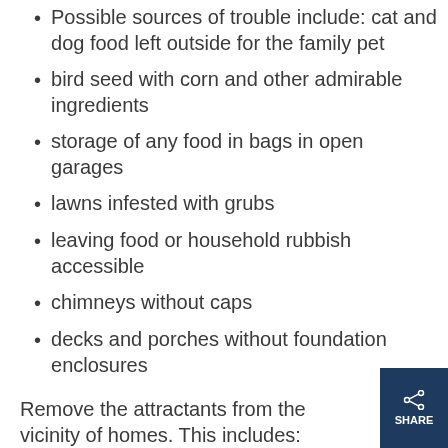Possible sources of trouble include: cat and dog food left outside for the family pet
bird seed with corn and other admirable ingredients
storage of any food in bags in open garages
lawns infested with grubs
leaving food or household rubbish accessible
chimneys without caps
decks and porches without foundation enclosures
Remove the attractants from the vicinity of homes. This includes: